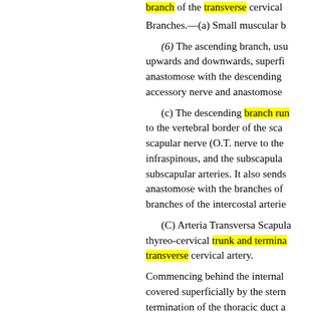branch of the transverse cervical—
Branches.—(a) Small muscular b
(6) The ascending branch, usually upwards and downwards, superficially anastomose with the descending accessory nerve and anastomose
(c) The descending branch runs to the vertebral border of the scapular nerve (O.T. nerve to the infraspinous, and the subscapular subscapular arteries. It also sends anastomose with the branches of branches of the intercostal arteries
(C) Arteria Transversa Scapula thyreo-cervical trunk and termina transverse cervical artery.
Commencing behind the internal covered superficially by the stern termination of the thoracic duct a the third part of the subclavian a passes over the superior transver supraspinous fossa and deep to th